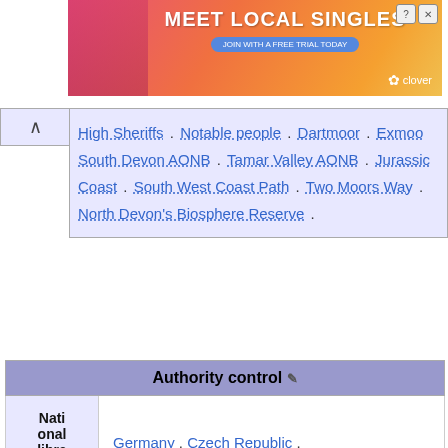[Figure (screenshot): Advertisement banner for 'Meet Local Singles' by Clover dating app with pink/orange gradient background]
High Sheriffs . Notable people . Dartmoor . Exmoor . South Devon AONB . Tamar Valley AONB . Jurassic Coast . South West Coast Path . Two Moors Way . North Devon's Biosphere Reserve .
| Authority control ✎ |
| --- |
| National libraries | Germany . Czech Republic . |
| Other | MusicBrainz area . |